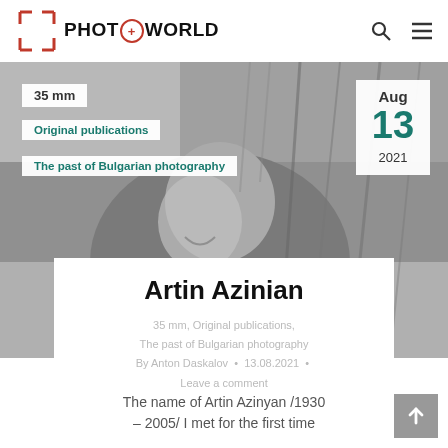PHOT⊕WORLD
[Figure (photo): Black and white photograph of a person smiling, partially obscured by wheat/grain stalks in a field]
35 mm
Original publications
The past of Bulgarian photography
Aug 13 2021
Artin Azinian
35 mm, Original publications, The past of Bulgarian photography
By Anton Daskalov • 13.08.2021 • Leave a comment
The name of Artin Azinyan /1930 – 2005/ I met for the first time